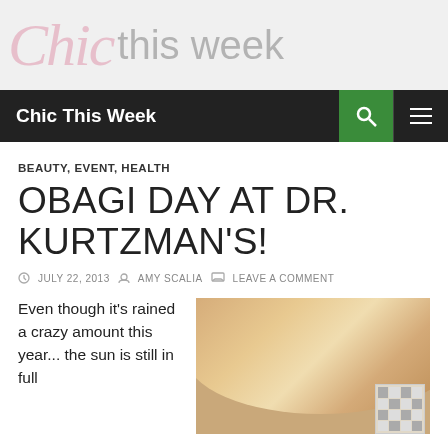Chic this week
Chic This Week
BEAUTY, EVENT, HEALTH
OBAGI DAY AT DR. KURTZMAN'S!
JULY 22, 2013  AMY SCALIA  LEAVE A COMMENT
Even though it's rained a crazy amount this year... the sun is still in full
[Figure (photo): Woman wearing a large wide-brim sun hat with a blue sky and building in the background]